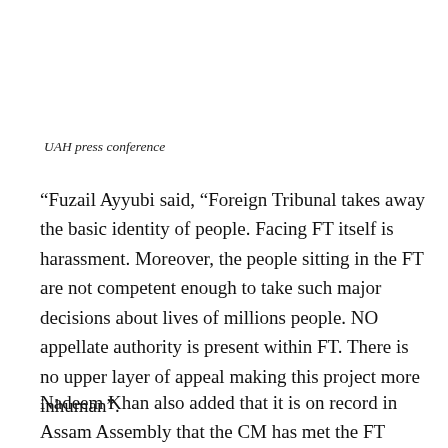UAH press conference
“Fuzail Ayyubi said, “Foreign Tribunal takes away the basic identity of people. Facing FT itself is harassment. Moreover, the people sitting in the FT are not competent enough to take such major decisions about lives of millions people. NO appellate authority is present within FT. There is no upper layer of appeal making this project more inhuman”.
Nadeem Khan also added that it is on record in Assam Assembly that the CM has met the FT members twice to give directions. This itself represents how this project is dividing people of